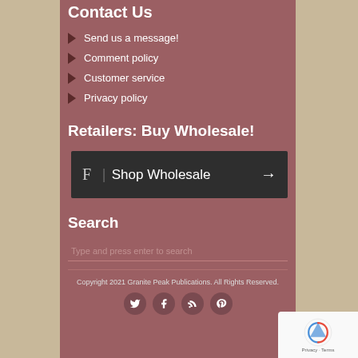Contact Us
Send us a message!
Comment policy
Customer service
Privacy policy
Retailers: Buy Wholesale!
[Figure (other): Dark button with F logo and 'Shop Wholesale' text and right arrow]
Search
Type and press enter to search
Copyright 2021 Granite Peak Publications. All Rights Reserved.
[Figure (other): Social media icons: Twitter, Facebook, RSS, Pinterest]